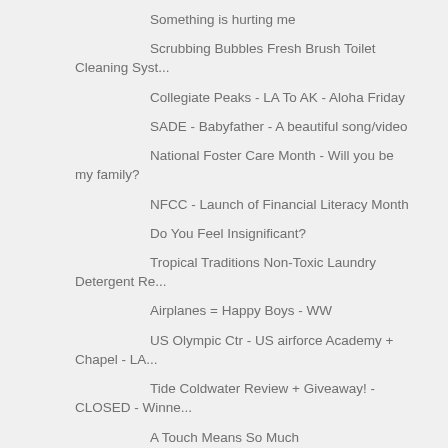Something is hurting me
Scrubbing Bubbles Fresh Brush Toilet Cleaning Syst...
Collegiate Peaks - LA To AK - Aloha Friday
SADE - Babyfather - A beautiful song/video
National Foster Care Month - Will you be my family?
NFCC - Launch of Financial Literacy Month
Do You Feel Insignificant?
Tropical Traditions Non-Toxic Laundry Detergent Re...
Airplanes = Happy Boys - WW
US Olympic Ctr - US airforce Academy + Chapel - LA...
Tide Coldwater Review + Giveaway! - CLOSED - Winne...
A Touch Means So Much